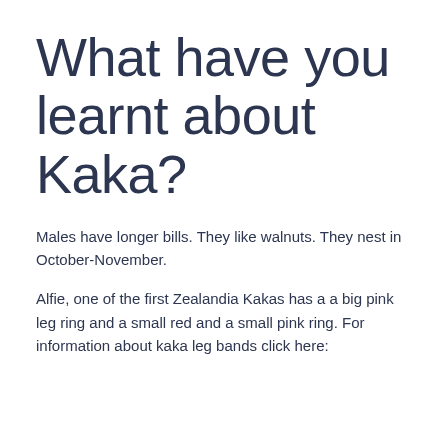What have you learnt about Kaka?
Males have longer bills. They like walnuts. They nest in October-November.
Alfie, one of the first Zealandia Kakas has a a big pink leg ring and a small red and a small pink ring. For information about kaka leg bands click here: